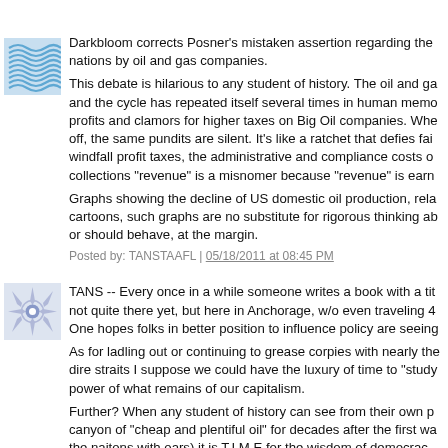[Figure (illustration): Blue wavy lines avatar icon for TANSTAAFL user]
Darkbloom corrects Posner's mistaken assertion regarding the nations by oil and gas companies.
This debate is hilarious to any student of history. The oil and ga and the cycle has repeated itself several times in human memo profits and clamors for higher taxes on Big Oil companies. Whe off, the same pundits are silent. It's like a ratchet that defies fai windfall profit taxes, the administrative and compliance costs o collections "revenue" is a misnomer because "revenue" is earn
Graphs showing the decline of US domestic oil production, rela cartoons, such graphs are no substitute for rigorous thinking ab or should behave, at the margin.
Posted by: TANSTAAFL | 05/18/2011 at 08:45 PM
[Figure (illustration): Geometric snowflake pattern avatar icon for second commenter]
TANS -- Every once in a while someone writes a book with a tit not quite there yet, but here in Anchorage, w/o even traveling 4 One hopes folks in better position to influence policy are seeing
As for ladling out or continuing to grease corpies with nearly the dire straits I suppose we could have the luxury of time to "study power of what remains of our capitalism.
Further? When any student of history can see from their own p canyon of "cheap and plentiful oil" for decades after the first wa the naitons with oars) it is T.I.M.E for the wisdom of democrac